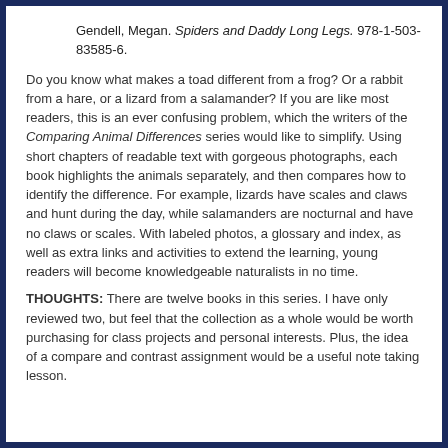Gendell, Megan. Spiders and Daddy Long Legs. 978-1-503-83585-6.
Do you know what makes a toad different from a frog? Or a rabbit from a hare, or a lizard from a salamander? If you are like most readers, this is an ever confusing problem, which the writers of the Comparing Animal Differences series would like to simplify. Using short chapters of readable text with gorgeous photographs, each book highlights the animals separately, and then compares how to identify the difference. For example, lizards have scales and claws and hunt during the day, while salamanders are nocturnal and have no claws or scales. With labeled photos, a glossary and index, as well as extra links and activities to extend the learning, young readers will become knowledgeable naturalists in no time.
THOUGHTS: There are twelve books in this series. I have only reviewed two, but feel that the collection as a whole would be worth purchasing for class projects and personal interests. Plus, the idea of a compare and contrast assignment would be a useful note taking lesson.